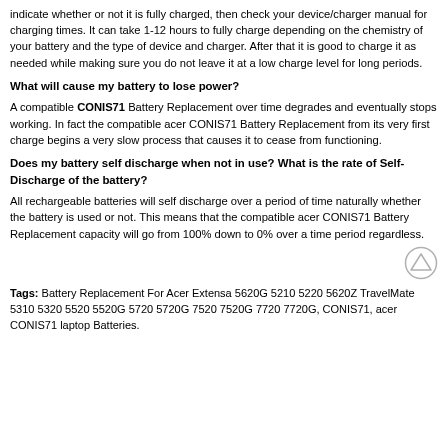indicate whether or not it is fully charged, then check your device/charger manual for charging times. It can take 1-12 hours to fully charge depending on the chemistry of your battery and the type of device and charger. After that it is good to charge it as needed while making sure you do not leave it at a low charge level for long periods.
What will cause my battery to lose power?
A compatible CONIS71 Battery Replacement over time degrades and eventually stops working. In fact the compatible acer CONIS71 Battery Replacement from its very first charge begins a very slow process that causes it to cease from functioning.
Does my battery self discharge when not in use? What is the rate of Self-Discharge of the battery?
All rechargeable batteries will self discharge over a period of time naturally whether the battery is used or not. This means that the compatible acer CONIS71 Battery Replacement capacity will go from 100% down to 0% over a time period regardless.
Tags: Battery Replacement For Acer Extensa 5620G 5210 5220 5620Z TravelMate 5310 5320 5520 5520G 5720 5720G 7520 7520G 7720 7720G, CONIS71, acer CONIS71 laptop Batteries.